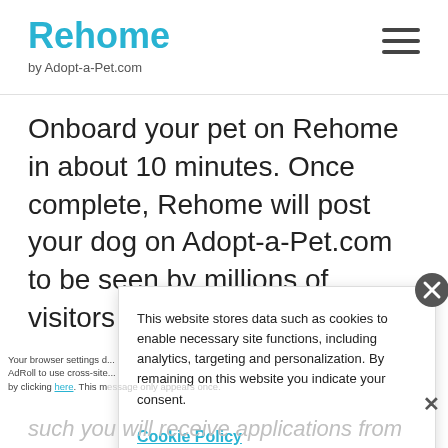Rehome by Adopt-a-Pet.com
Onboard your pet on Rehome in about 10 minutes. Once complete, Rehome will post your dog on Adopt-a-Pet.com to be seen by millions of visitors each month.
This website stores data such as cookies to enable necessary site functions, including analytics, targeting and personalization. By remaining on this website you indicate your consent.
Cookie Policy
Your browser settings d... AdRoll to use cross-site... by clicking here. This m...
...such you will receive applications from